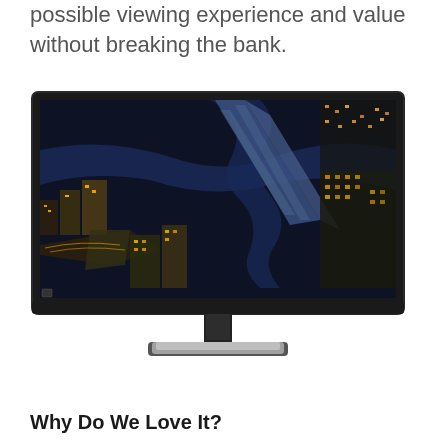possible viewing experience and value without breaking the bank.
[Figure (photo): Samsung monitor displaying an aerial night cityscape photograph, shown in perspective on a black stand with silver base]
Why Do We Love It?